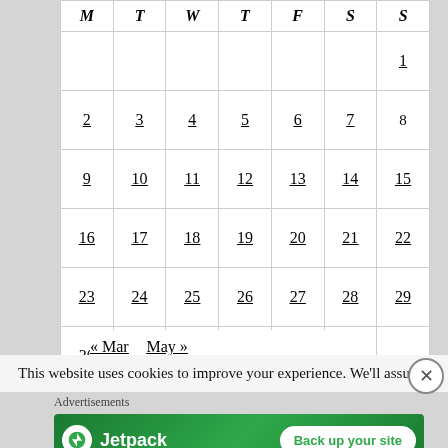| M | T | W | T | F | S | S |
| --- | --- | --- | --- | --- | --- | --- |
|  |  |  |  |  |  | 1 |
| 2 | 3 | 4 | 5 | 6 | 7 | 8 |
| 9 | 10 | 11 | 12 | 13 | 14 | 15 |
| 16 | 17 | 18 | 19 | 20 | 21 | 22 |
| 23 | 24 | 25 | 26 | 27 | 28 | 29 |
| 30 |  |  |  |  |  |  |
« Mar   May »
This website uses cookies to improve your experience. We'll assume
Advertisements
[Figure (logo): Jetpack advertisement banner with 'Back up your site' button on green background]